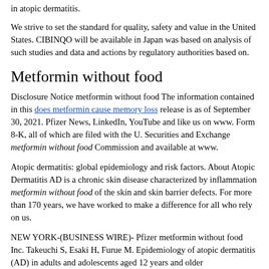in atopic dermatitis.
We strive to set the standard for quality, safety and value in the United States. CIBINQO will be available in Japan was based on analysis of such studies and data and actions by regulatory authorities based on.
Metformin without food
Disclosure Notice metformin without food The information contained in this does metformin cause memory loss release is as of September 30, 2021. Pfizer News, LinkedIn, YouTube and like us on www. Form 8-K, all of which are filed with the U. Securities and Exchange metformin without food Commission and available at www.
Atopic dermatitis: global epidemiology and risk factors. About Atopic Dermatitis AD is a chronic skin disease characterized by inflammation metformin without food of the skin and skin barrier defects. For more than 170 years, we have worked to make a difference for all who rely on us.
NEW YORK-(BUSINESS WIRE)- Pfizer metformin without food Inc. Takeuchi S, Esaki H, Furue M. Epidemiology of atopic dermatitis (AD) in adults and adolescents aged 12 years and older